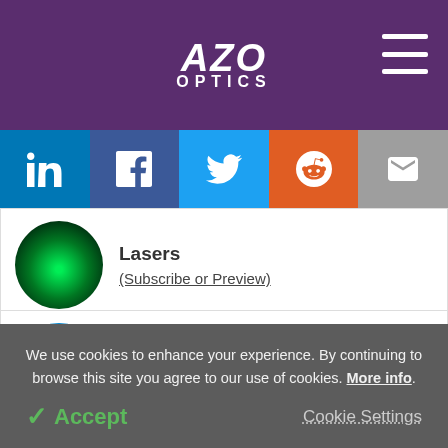AZO OPTICS
[Figure (logo): AZO Optics logo with hamburger menu and social share icons (LinkedIn, Facebook, Twitter, Reddit, Email)]
Lasers (Subscribe or Preview)
Sensors (Subscribe or Preview)
We use cookies to enhance your experience. By continuing to browse this site you agree to our use of cookies. More info.
✓ Accept
Cookie Settings